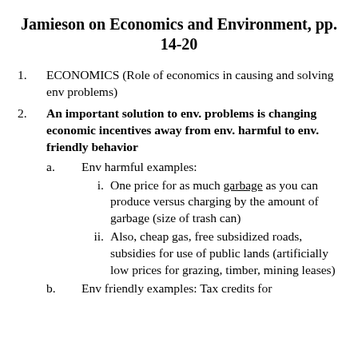Jamieson on Economics and Environment, pp. 14-20
ECONOMICS (Role of economics in causing and solving env problems)
An important solution to env. problems is changing economic incentives away from env. harmful to env. friendly behavior
Env harmful examples:
One price for as much garbage as you can produce versus charging by the amount of garbage (size of trash can)
Also, cheap gas, free subsidized roads, subsidies for use of public lands (artificially low prices for grazing, timber, mining leases)
Env friendly examples: Tax credits for